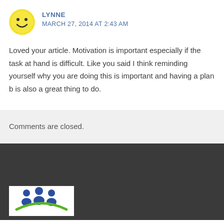[Figure (illustration): Yellow smiley face avatar icon]
LYNNE
MARCH 27, 2014 AT 2:43 AM
Loved your article. Motivation is important especially if the task at hand is difficult. Like you said I think reminding yourself why you are doing this is important and having a plan b is also a great thing to do.
Comments are closed.
[Figure (logo): Organization logo with stylized people figures in blue and green]